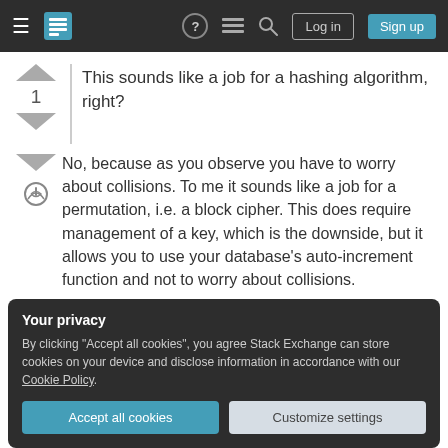[Figure (screenshot): Stack Exchange navigation bar with hamburger menu, logo, help icon, chat icon, search icon, Log in and Sign up buttons]
This sounds like a job for a hashing algorithm, right?
No, because as you observe you have to worry about collisions. To me it sounds like a job for a permutation, i.e. a block cipher. This does require management of a key, which is the downside, but it allows you to use your database's auto-increment function and not to worry about collisions.
Your privacy
By clicking "Accept all cookies", you agree Stack Exchange can store cookies on your device and disclose information in accordance with our Cookie Policy.
profile / session state. You could even make it be